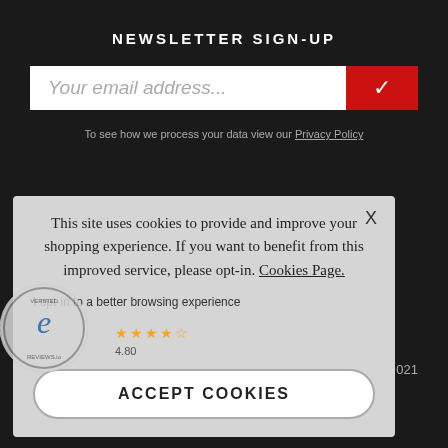NEWSLETTER SIGN-UP
Your email address...
To see how we process your data view our Privacy Policy
This site uses cookies to provide and improve your shopping experience. If you want to benefit from this improved service, please opt-in. Cookies Page.
I opt-in to a better browsing experience
ACCEPT COOKIES
4.80
021